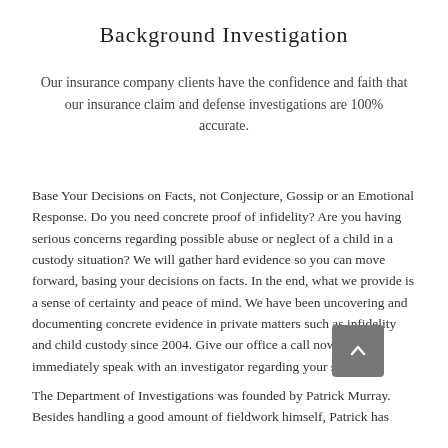Background Investigation
Our insurance company clients have the confidence and faith that our insurance claim and defense investigations are 100% accurate.
Base Your Decisions on Facts, not Conjecture, Gossip or an Emotional Response. Do you need concrete proof of infidelity? Are you having serious concerns regarding possible abuse or neglect of a child in a custody situation? We will gather hard evidence so you can move forward, basing your decisions on facts. In the end, what we provide is a sense of certainty and peace of mind. We have been uncovering and documenting concrete evidence in private matters such as infidelity and child custody since 2004. Give our office a call now to immediately speak with an investigator regarding your situation.
The Department of Investigations was founded by Patrick Murray. Besides handling a good amount of fieldwork himself, Patrick has